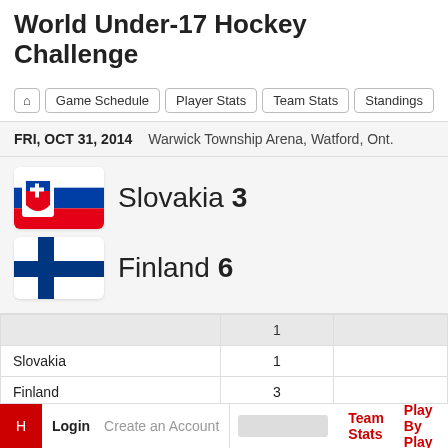World Under-17 Hockey Challenge
Game Schedule | Player Stats | Team Stats | Standings
FRI, OCT 31, 2014 — Warwick Township Arena, Watford, Ont.
Slovakia 3
Finland 6
|  | 1 |  |
| --- | --- | --- |
| Slovakia | 1 |  |
| Finland | 3 |  |
Login | Create an Account | Team Stats | Play By Play